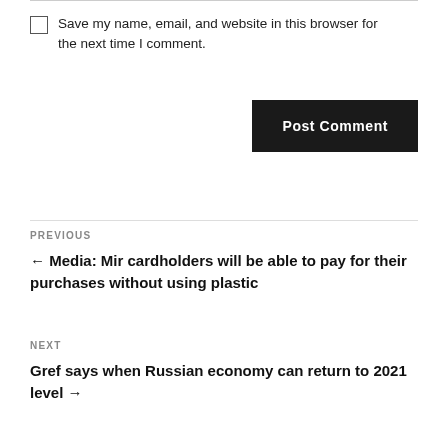Save my name, email, and website in this browser for the next time I comment.
Post Comment
PREVIOUS
← Media: Mir cardholders will be able to pay for their purchases without using plastic
NEXT
Gref says when Russian economy can return to 2021 level →